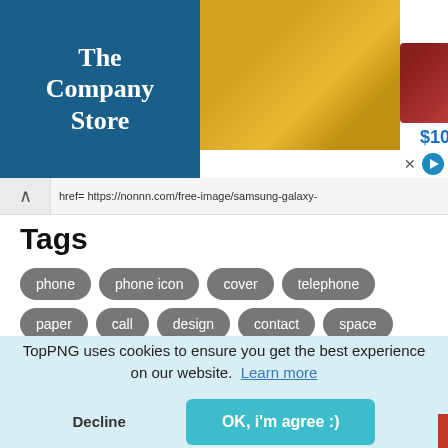[Figure (screenshot): Advertisement banner for The Company Store showing bedding products at $107 and $213]
href= https://nonnn.com/free-image/samsung-galaxy-
Tags
phone
phone icon
cover
telephone
paper
call
design
contact
space
TopPNG uses cookies to ensure you get the best experience on our website. Learn more
Decline
OK, i'm agree :)